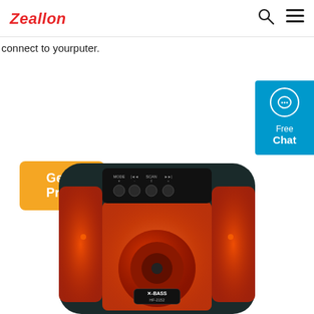Zeallon
connect to yourputer.
Get Price
[Figure (screenshot): Chat widget button showing a speech bubble icon and the text 'Free Chat' on a cyan/blue background]
[Figure (photo): X-BASS HF-2152 portable Bluetooth speaker with red/orange LED lighting, dark body with top control buttons (MODE, previous, SCAN, next), and circular speaker grille with glowing effects]